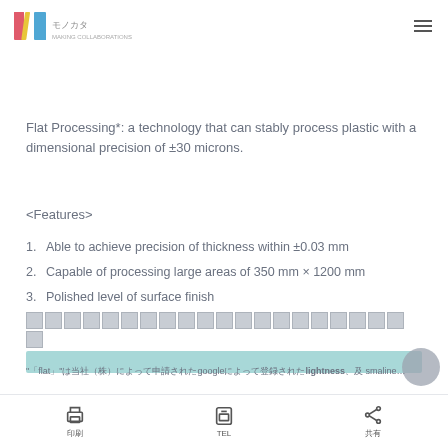Monocot logo and hamburger menu
Flat Processing*: a technology that can stably process plastic with a dimensional precision of ±30 microns.
<Features>
1. Able to achieve precision of thickness within ±0.03 mm
2. Capable of processing large areas of 350 mm × 1200 mm
3. Polished level of surface finish
[redacted block of Japanese text with teal highlight bar]
*「flat」は当社（株）のgoogleによって登録されたlightness、及 smaline…
印刷  TEL  共有